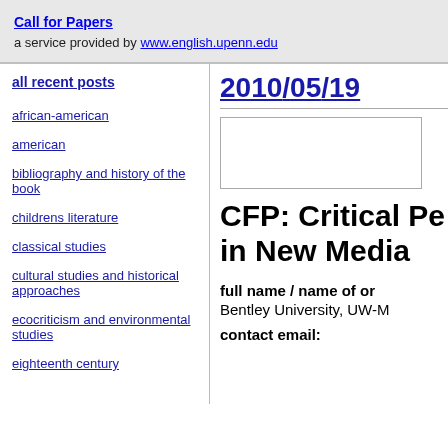Call for Papers — a service provided by www.english.upenn.edu
all recent posts
african-american
american
bibliography and history of the book
childrens literature
classical studies
cultural studies and historical approaches
ecocriticism and environmental studies
eighteenth century
2010/05/19
CFP: Critical Pe... in New Media
full name / name of or...
Bentley University, UW-M...
contact email: